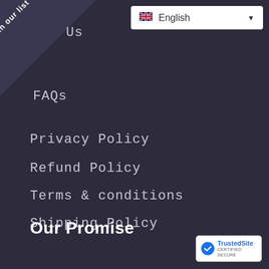Join our list
English
Us
FAQs
Privacy Policy
Refund Policy
Terms & conditions
Shipping Policy
Terms of Service
Our Promise
[Figure (logo): TrustedSite Certified Secure badge with blue checkmark icon]